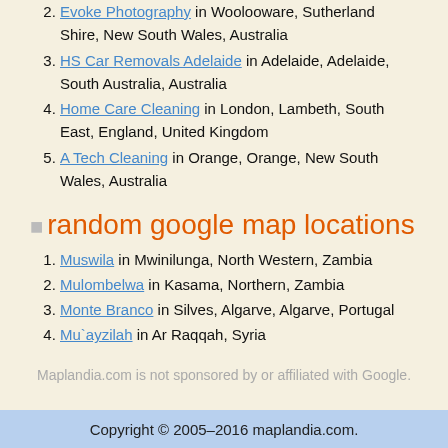2. Evoke Photography in Woolooware, Sutherland Shire, New South Wales, Australia
3. HS Car Removals Adelaide in Adelaide, Adelaide, South Australia, Australia
4. Home Care Cleaning in London, Lambeth, South East, England, United Kingdom
5. A Tech Cleaning in Orange, Orange, New South Wales, Australia
random google map locations
1. Muswila in Mwinilunga, North Western, Zambia
2. Mulombelwa in Kasama, Northern, Zambia
3. Monte Branco in Silves, Algarve, Algarve, Portugal
4. Mu`ayzilah in Ar Raqqah, Syria
Maplandia.com is not sponsored by or affiliated with Google.
Copyright © 2005–2016 maplandia.com.